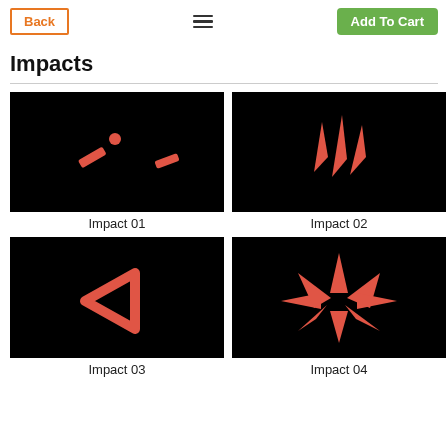Back | Menu | Add To Cart
Impacts
[Figure (illustration): Black thumbnail showing red impact shapes: a small circle and two angled rectangle fragments on black background. Labeled Impact 01.]
Impact 01
[Figure (illustration): Black thumbnail showing red sharp angular shards/blades radiating outward on black background. Labeled Impact 02.]
Impact 02
[Figure (illustration): Black thumbnail showing a red hollow triangle (open left-pointing triangle) on black background. Labeled Impact 03.]
Impact 03
[Figure (illustration): Black thumbnail showing multiple red triangular shards radiating from center like a starburst/explosion on black background. Labeled Impact 04.]
Impact 04